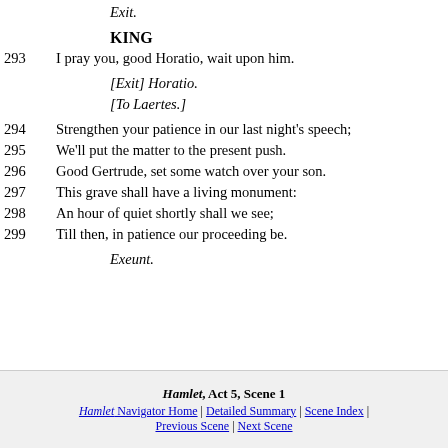Exit.
KING
293    I pray you, good Horatio, wait upon him.
[Exit] Horatio.
[To Laertes.]
294    Strengthen your patience in our last night's speech;
295    We'll put the matter to the present push.
296    Good Gertrude, set some watch over your son.
297    This grave shall have a living monument:
298    An hour of quiet shortly shall we see;
299    Till then, in patience our proceeding be.
Exeunt.
Hamlet, Act 5, Scene 1 | Hamlet Navigator Home | Detailed Summary | Scene Index | Previous Scene | Next Scene